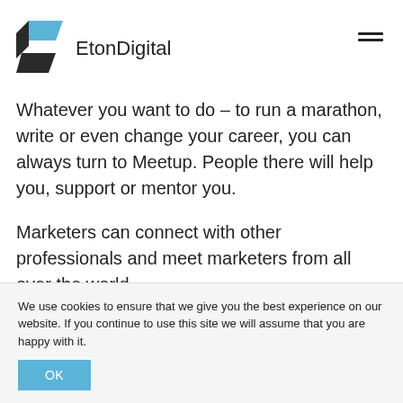[Figure (logo): EtonDigital logo with angular geometric mark in blue and dark grey, followed by text 'EtonDigital']
Meetup brings people together to do, explore, teach
Whatever you want to do – to run a marathon, write or even change your career, you can always turn to Meetup. People there will help you, support or mentor you.
Marketers can connect with other professionals and meet marketers from all over the world.
You can find an event on Meetup
We use cookies to ensure that we give you the best experience on our website. If you continue to use this site we will assume that you are happy with it.